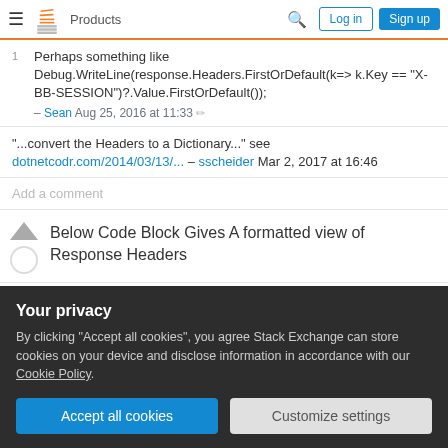Stack Overflow — Products | Log in | Sign up
1. Perhaps something like Debug.WriteLine(response.Headers.FirstOrDefault(k=> k.Key == "X-BB-SESSION")?.Value.FirstOrDefault()); – Sean Aug 25, 2016 at 11:33
"...convert the Headers to a Dictionary..." see dotnetcodr.com/2014/03/13/... – sscheider Mar 2, 2017 at 16:46
Add a comment
Below Code Block Gives A formatted view of Response Headers
Your privacy
By clicking "Accept all cookies", you agree Stack Exchange can store cookies on your device and disclose information in accordance with our Cookie Policy.
Accept all cookies | Customize settings